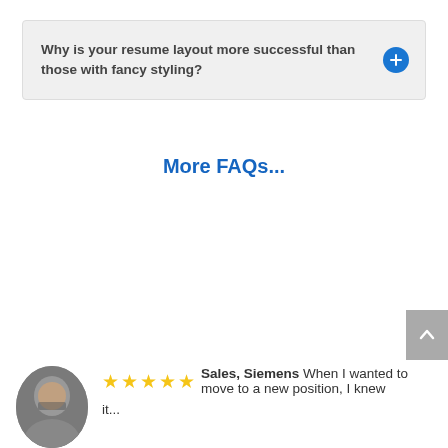Why is your resume layout more successful than those with fancy styling?
More FAQs...
Sales, Siemens When I wanted to move to a new position, I knew it...